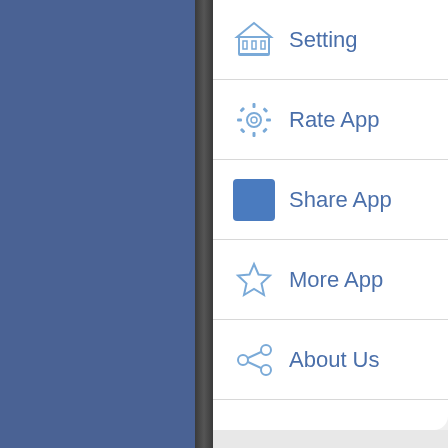[Figure (screenshot): Mobile app screenshot showing a slide-out navigation menu with blue left panel and white right panel containing menu items: Setting (bank/institution icon), Rate App (gear icon), Share App (blue square icon), More App (star icon), About Us (share/network icon)]
Setting
Rate App
Share App
More App
About Us